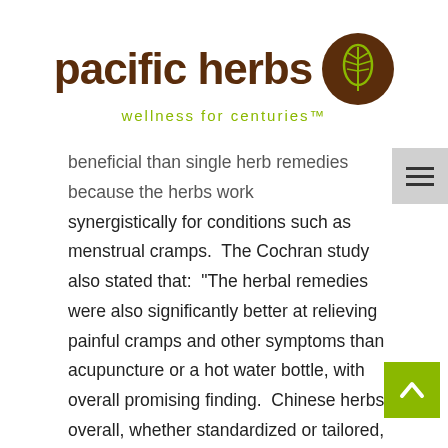[Figure (logo): Pacific Herbs logo with brown text and leaf icon in brown circle, tagline 'wellness for centuries']
beneficial than single herb remedies because the herbs work synergistically for conditions such as menstrual cramps.  The Cochran study also stated that:  "The herbal remedies were also significantly better at relieving painful cramps and other symptoms than acupuncture or a hot water bottle, with overall promising finding.  Chinese herbs overall, whether standardized or tailored, yielded better pain relief than conventional pharmaceutical therapies." Chinese herbal medicine can be a bit intimidating when you don't know anything about these herbs, and the five herbs above are only a few of the herbs beneficial for menstrual cramps in the